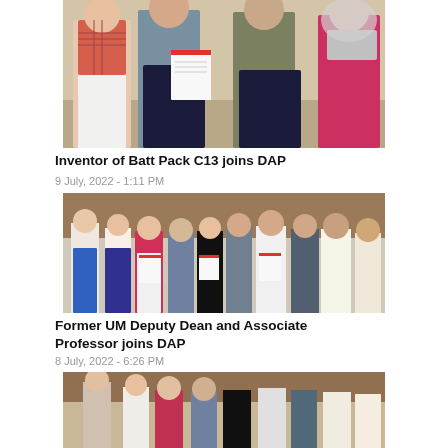[Figure (photo): Group of four people standing together, two holding a document with red stripe, in an indoor setting. Women in plaid shirt and hijab on sides, two men in center.]
Inventor of Batt Pack C13 joins DAP
9 July, 2022 - 1:11 PM
[Figure (photo): Group of about ten people standing together in a room with wooden ceiling, several holding documents with red stripe, casual and formal attire.]
Former UM Deputy Dean and Associate Professor joins DAP
8 July, 2022 - 6:26 PM
[Figure (photo): Partial view of another group photo at the bottom of the page, cropped.]